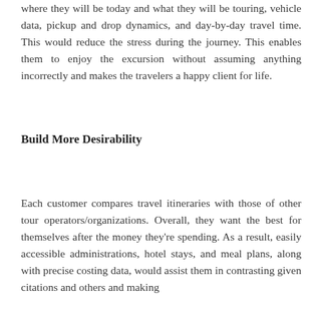where they will be today and what they will be touring, vehicle data, pickup and drop dynamics, and day-by-day travel time. This would reduce the stress during the journey. This enables them to enjoy the excursion without assuming anything incorrectly and makes the travelers a happy client for life.
Build More Desirability
Each customer compares travel itineraries with those of other tour operators/organizations. Overall, they want the best for themselves after the money they're spending. As a result, easily accessible administrations, hotel stays, and meal plans, along with precise costing data, would assist them in contrasting given citations and others and making